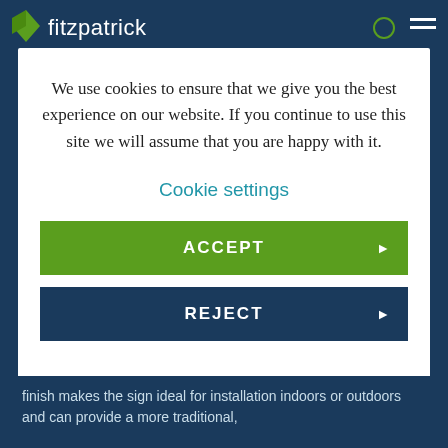fitzpatrick
We use cookies to ensure that we give you the best experience on our website. If you continue to use this site we will assume that you are happy with it.
Cookie settings
ACCEPT
REJECT
finish makes the sign ideal for installation indoors or outdoors and can provide a more traditional,